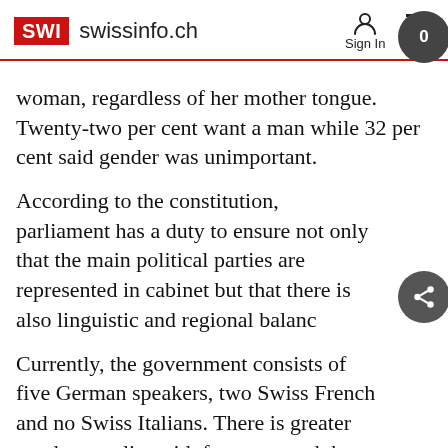SWI swissinfo.ch — Sign In  Menu
woman, regardless of her mother tongue. Twenty-two per cent want a man while 32 per cent said gender was unimportant.
According to the constitution, parliament has a duty to ensure not only that the main political parties are represented in cabinet but that there is also linguistic and regional balance.
Currently, the government consists of five German speakers, two Swiss French and no Swiss Italians. There is greater gender equality with four men and three women.
SWI swissinfo.ch – a branch of Swiss Broadcasting Corporation and